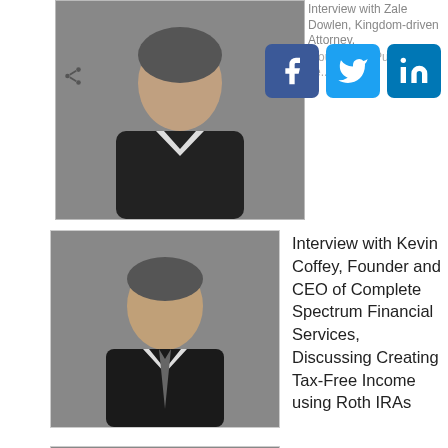[Figure (photo): Partial photo of a man in dark suit, mostly cropped, with social media share icons (Facebook, Twitter, LinkedIn, Pinterest) overlaid]
Interview with Zale Dowlen, Kingdom-driven Attorney, ... Public
Interview with Kevin Coffey, Founder and CEO of Complete Spectrum Financial Services, Discussing Creating Tax-Free Income using Roth IRAs
[Figure (photo): Photo of Kevin Coffey, a man in dark suit and tie, smiling]
Interview With Kevin Coffey, Founder & CEO of Complete Spectrum Financial Services Discussing How to Avoid Market Losses
[Figure (photo): Photo of Kevin Coffey, same as above]
Interview with Nina Acosta Founder & CEO of Transcend the Light DiscussingTransformational Life Coach & Energy Healer-Emotional Trigger Management
[Figure (photo): Photo of Nina Acosta, a woman with long dark hair in red top, smiling]